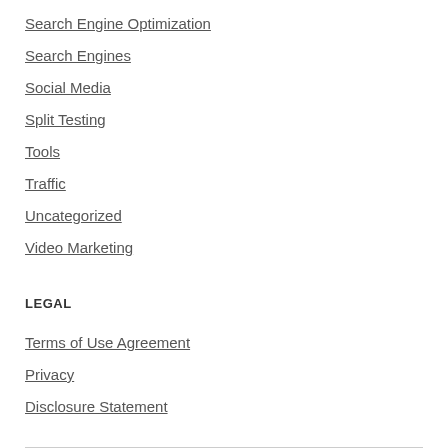Search Engine Optimization
Search Engines
Social Media
Split Testing
Tools
Traffic
Uncategorized
Video Marketing
LEGAL
Terms of Use Agreement
Privacy
Disclosure Statement